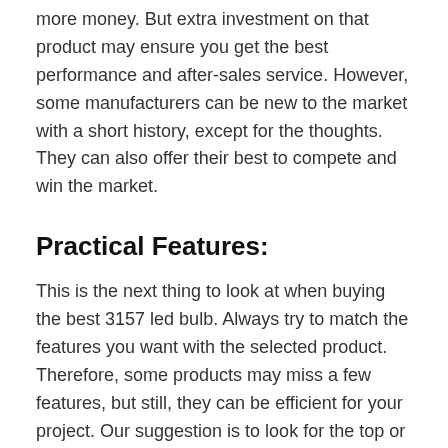more money. But extra investment on that product may ensure you get the best performance and after-sales service. However, some manufacturers can be new to the market with a short history, except for the thoughts. They can also offer their best to compete and win the market.
Practical Features:
This is the next thing to look at when buying the best 3157 led bulb. Always try to match the features you want with the selected product. Therefore, some products may miss a few features, but still, they can be efficient for your project. Our suggestion is to look for the top or mandatory features of the multiple products. Then,